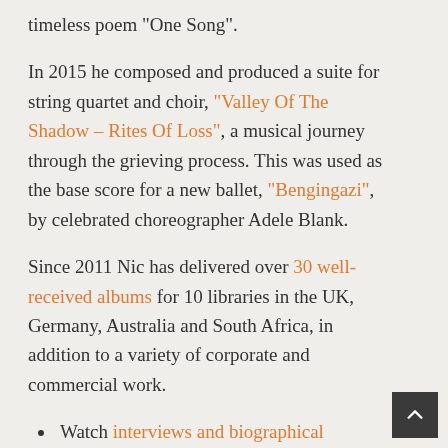timeless poem “One Song”.
In 2015 he composed and produced a suite for string quartet and choir, “Valley Of The Shadow – Rites Of Loss”, a musical journey through the grieving process. This was used as the base score for a new ballet, “Bengingazi”, by celebrated choreographer Adele Blank.
Since 2011 Nic has delivered over 30 well-received albums for 10 libraries in the UK, Germany, Australia and South Africa, in addition to a variety of corporate and commercial work.
Watch interviews and biographical portraits.
View the 2018 cinematic showreel.
Read Endorsements.